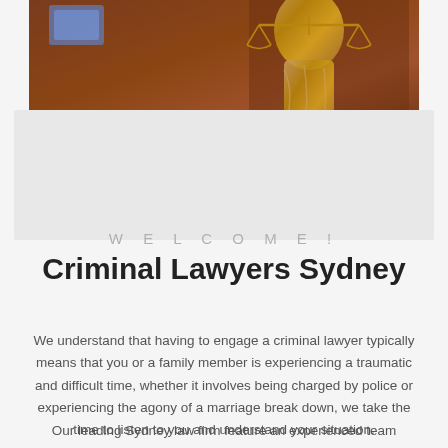[Figure (photo): Bronze statue of Lady Justice (scales of justice) with warm brownish-red background, cropped at the top of the page]
WELCOME!
Criminal Lawyers Sydney
We understand that having to engage a criminal lawyer typically means that you or a family member is experiencing a traumatic and difficult time, whether it involves being charged by police or experiencing the agony of a marriage break down, we take the time to listen to you and understand your situation.
Our leading Sydney law firm feature an experienced team